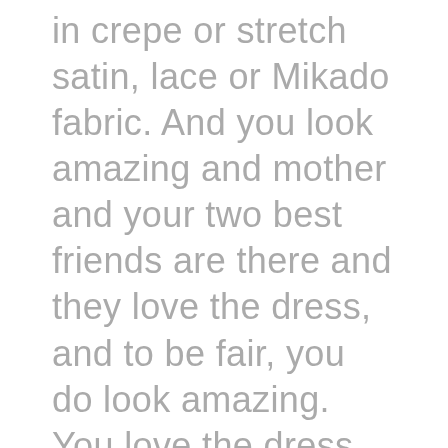in crepe or stretch satin, lace or Mikado fabric. And you look amazing and mother and your two best friends are there and they love the dress, and to be fair, you do look amazing. You love the dress, but for the sleeves, or the neckline that isn't quite right, or maybe there's something about the boning in the bodice. But it's gorgeous and you're gorgeous and everyone else is saying YES! But you